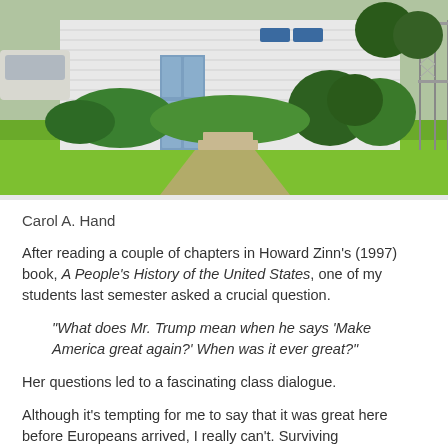[Figure (photo): Photograph of a white single-story house with a blue door, trimmed hedges and bushes in front, a green lawn, and a concrete walkway. A car is visible to the left and a chain-link fence is on the right.]
Carol A. Hand
After reading a couple of chapters in Howard Zinn's (1997) book, A People's History of the United States, one of my students last semester asked a crucial question.
“What does Mr. Trump mean when he says ‘Make America great again?’ When was it ever great?”
Her questions led to a fascinating class dialogue.
Although it’s tempting for me to say that it was great here before Europeans arrived, I really can’t. Surviving